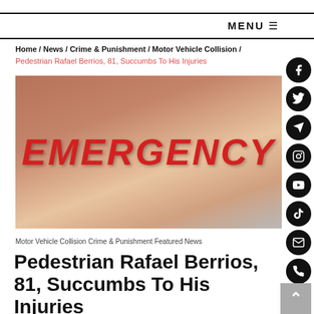MENU
Home / News / Crime & Punishment / Motor Vehicle Collision / Pedestrian Rafael Berrios, 81, Succumbs To His Injuries
[Figure (photo): Photo of a hospital building exterior showing a large red EMERGENCY sign mounted on the facade]
Motor Vehicle Collision Crime & Punishment Featured News
Pedestrian Rafael Berrios, 81, Succumbs To His Injuries